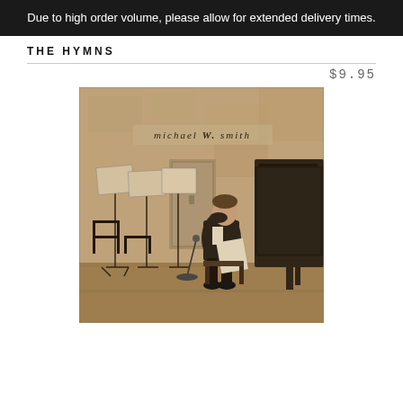Due to high order volume, please allow for extended delivery times.
THE HYMNS
$9.95
[Figure (photo): Album cover for Michael W. Smith 'The Hymns'. Sepia-toned photograph of a man (Michael W. Smith) sitting on a stage, leaning forward reviewing sheet music. Music stands with sheets are arranged to the left, a grand piano is visible on the right. The artist name 'michael W. smith' is written in elegant script/font across the upper portion of the image.]